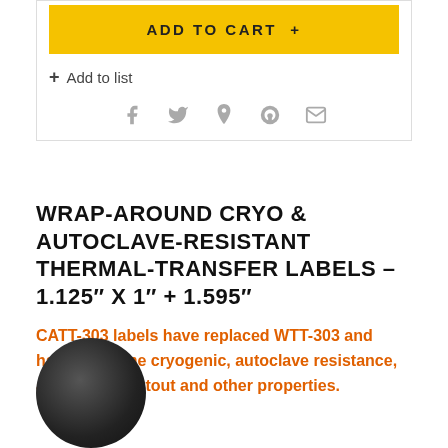ADD TO CART +
+ Add to list
[Figure (illustration): Social sharing icons: Facebook, Twitter, Pinterest, Fancy, Email]
WRAP-AROUND CRYO & AUTOCLAVE-RESISTANT THERMAL-TRANSFER LABELS – 1.125" X 1" + 1.595"
CATT-303 labels have replaced WTT-303 and have the same cryogenic, autoclave resistance, as well as printout and other properties.
[Figure (illustration): Dark circular element, partially overlapping text]